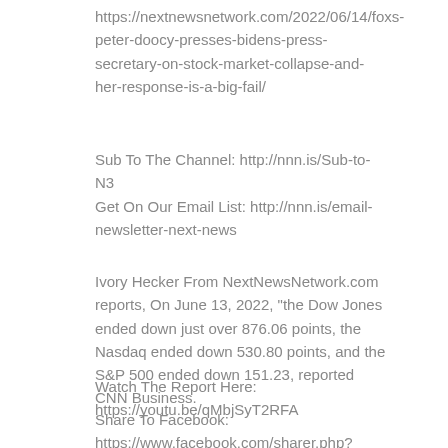https://nextnewsnetwork.com/2022/06/14/foxs-peter-doocy-presses-bidens-press-secretary-on-stock-market-collapse-and-her-response-is-a-big-fail/
Sub To The Channel: http://nnn.is/Sub-to-N3
Get On Our Email List: http://nnn.is/email-newsletter-next-news
Ivory Hecker From NextNewsNetwork.com reports, On June 13, 2022, "the Dow Jones ended down just over 876.06 points, the Nasdaq ended down 530.80 points, and the S&P 500 ended down 151.23, reported CNN Business.
Watch The Report Here: https://youtu.be/qMbjSyT2RFA
Share To Facebook:
https://www.facebook.com/sharer.php?